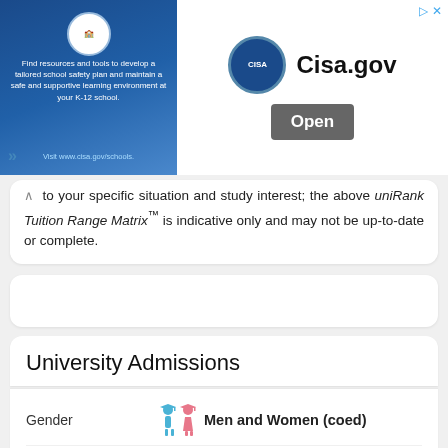[Figure (other): CISA advertisement banner with school safety resources, showing Cisa.gov logo and Open button]
to your specific situation and study interest; the above uniRank Tuition Range Matrix™ is indicative only and may not be up-to-date or complete.
University Admissions
Gender  Men and Women (coed)
Minority Serving  Historically Black Institution
International  Yes, international applicants